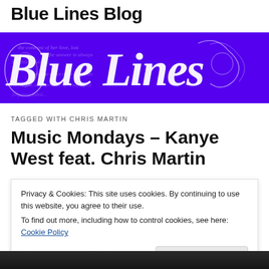Blue Lines Blog
[Figure (illustration): Purple banner with decorative Gothic/blackletter calligraphy text reading 'Blue Lines' with ornate swirls and cursive background text]
TAGGED WITH CHRIS MARTIN
Music Mondays – Kanye West feat. Chris Martin
Privacy & Cookies: This site uses cookies. By continuing to use this website, you agree to their use.
To find out more, including how to control cookies, see here: Cookie Policy
[Figure (photo): Partial black and white photo at bottom of page]